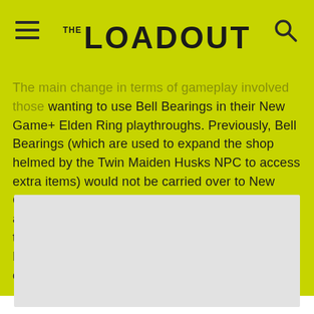THE LOADOUT
The main change in terms of gameplay involved those wanting to use Bell Bearings in their New Game+ Elden Ring playthroughs. Previously, Bell Bearings (which are used to expand the shop helmed by the Twin Maiden Husks NPC to access extra items) would not be carried over to New Game+, and neither would those that you had already handed in to Twin Maiden Husks. While that is still largely the same, a handful of Bell Bearings will now have their “liberated status” carried over to NG+ playthroughs.
[Figure (other): Gray placeholder image block below article text]